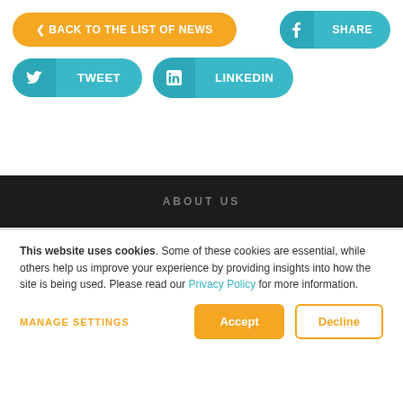< BACK TO THE LIST OF NEWS
f SHARE
TWEET
in LINKEDIN
ABOUT US
This website uses cookies. Some of these cookies are essential, while others help us improve your experience by providing insights into how the site is being used. Please read our Privacy Policy for more information.
MANAGE SETTINGS
Accept
Decline